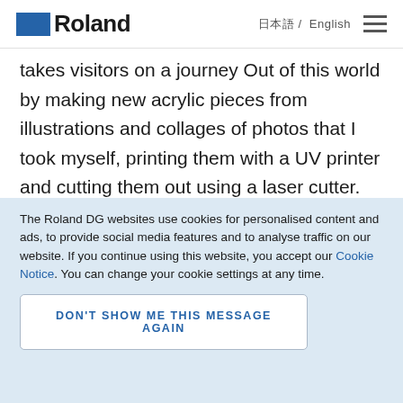Roland / 日本語 / English
takes visitors on a journey Out of this world by making new acrylic pieces from illustrations and collages of photos that I took myself, printing them with a UV printer and cutting them out using a laser cutter. Other pieces included work from my first exhibition held in February 2018. I am also running workshops for making acrylic accessories and have High-Me TOKYO accessories
The Roland DG websites use cookies for personalised content and ads, to provide social media features and to analyse traffic on our website. If you continue using this website, you accept our Cookie Notice. You can change your cookie settings at any time.
DON'T SHOW ME THIS MESSAGE AGAIN